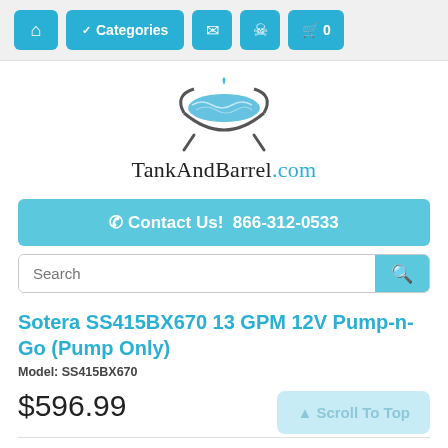Home | Categories | Mail | Account | Cart 0
[Figure (logo): TankAndBarrel.com logo with water bowl graphic and brand name]
Contact Us! 866-312-0533
Search
Sotera SS415BX670 13 GPM 12V Pump-n-Go (Pump Only)
Model: SS415BX670
$596.99